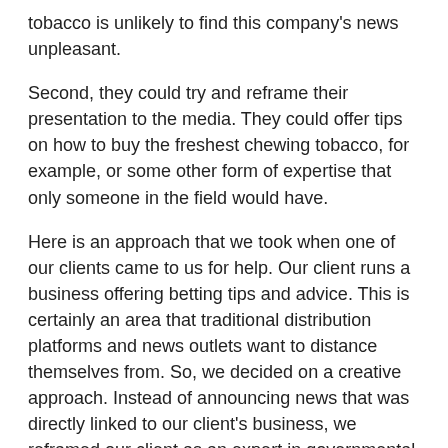tobacco is unlikely to find this company's news unpleasant.
Second, they could try and reframe their presentation to the media. They could offer tips on how to buy the freshest chewing tobacco, for example, or some other form of expertise that only someone in the field would have.
Here is an approach that we took when one of our clients came to us for help. Our client runs a business offering betting tips and advice. This is certainly an area that traditional distribution platforms and news outlets want to distance themselves from. So, we decided on a creative approach. Instead of announcing news that was directly linked to our client's business, we reframed our client as an expert in governmental legislation that affected the field of betting – which was true by the way. There was nothing dishonest about this strategy because our client does in fact have real expertise in this field. However, our strategy took all the sting out of the material. It transformed it into palatable news instead of a forbidden topic.